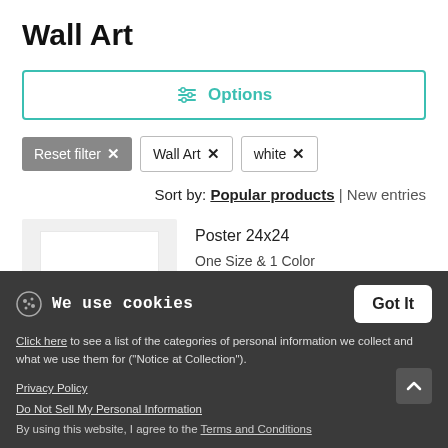Wall Art
[Figure (screenshot): Options filter button with teal border and teal icon/label]
Reset filter ×
Wall Art ×
white ×
Sort by: Popular products | New entries
Poster 24x24
One Size & 1 Color
We use cookies
Click here to see a list of the categories of personal information we collect and what we use them for ("Notice at Collection").
Privacy Policy
Do Not Sell My Personal Information
By using this website, I agree to the Terms and Conditions